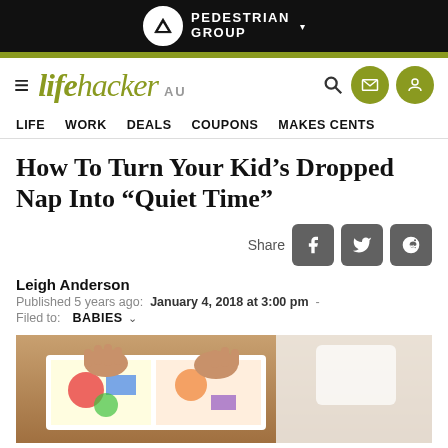PEDESTRIAN GROUP
[Figure (logo): Lifehacker AU logo with hamburger menu, search icon, envelope icon, and user icon]
LIFE   WORK   DEALS   COUPONS   MAKES CENTS
How To Turn Your Kid's Dropped Nap Into “Quiet Time”
Share
Leigh Anderson
Published 5 years ago:  January 4, 2018 at 3:00 pm  -
Filed to:  BABIES
[Figure (photo): Baby/toddler hands holding an illustrated book, lying on a wooden floor with white fabric nearby]